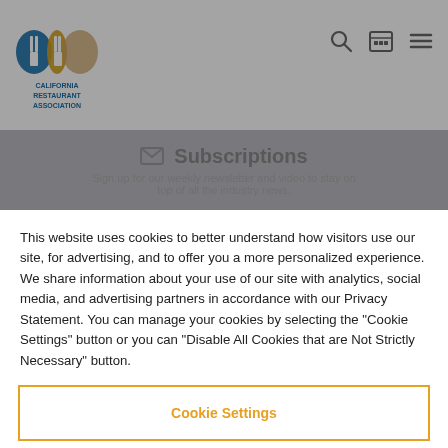[Figure (logo): California Restaurant Association logo — three fork/spoon icons in blue, orange, and dark, above text 'CALIFORNIA RESTAURANT ASSOCIATION']
✉ Subscriptions
Sign up for our weekly newsletter and video to stay on top of all the industry news.
This website uses cookies to better understand how visitors use our site, for advertising, and to offer you a more personalized experience. We share information about your use of our site with analytics, social media, and advertising partners in accordance with our Privacy Statement. You can manage your cookies by selecting the "Cookie Settings" button or you can "Disable All Cookies that are Not Strictly Necessary" button.
Cookie Settings
Disable All Cookies that are Not Strictly Necessary